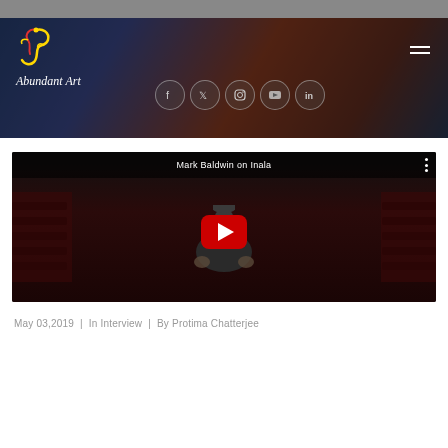Abundant Art - website header with logo and social icons
[Figure (screenshot): YouTube video thumbnail for 'Mark Baldwin on Inala' showing a man in a theater with a red YouTube play button overlay]
May 03,2019  |  In Interview  |  By Protima Chatterjee